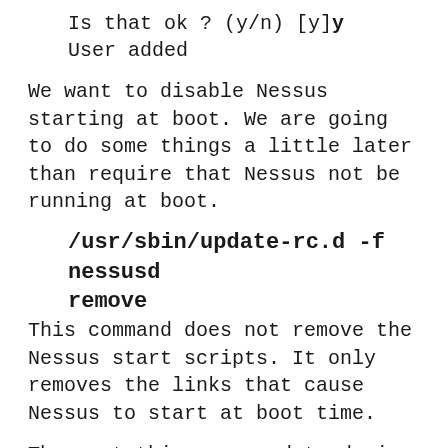Is that ok ? (y/n) [y]y
    User added
We want to disable Nessus starting at boot. We are going to do some things a little later than require that Nessus not be running at boot.
/usr/sbin/update-rc.d -f nessusd remove
This command does not remove the Nessus start scripts. It only removes the links that cause Nessus to start at boot time.
The next thing we need to do is register our installation so we can get the plugin feed. You need to go here and request a key. That is a link to the free feed for home use. Use appropriately.
Once you have your key. Execute the following to update your plugins. Please note that there